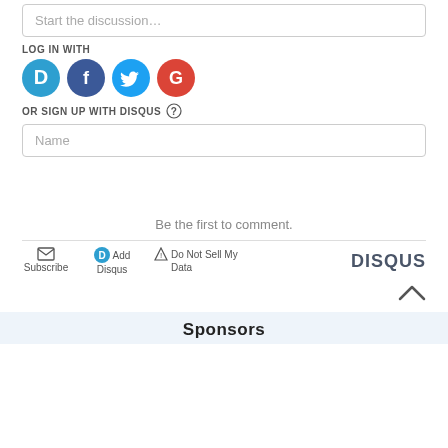Start the discussion…
LOG IN WITH
[Figure (illustration): Four social login icons in circles: Disqus (blue), Facebook (dark blue), Twitter (light blue), Google (red)]
OR SIGN UP WITH DISQUS ?
Name
Be the first to comment.
Subscribe  Add Disqus  Do Not Sell My Data  DISQUS
Sponsors